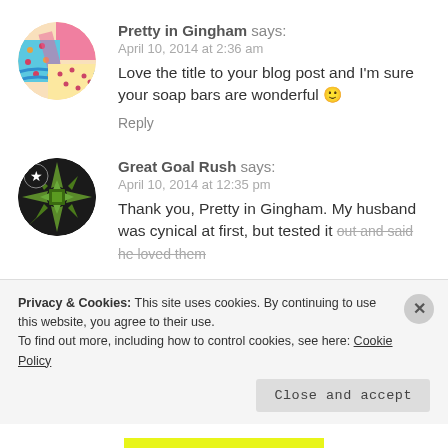[Figure (photo): Circular avatar image showing colorful fabric/quilt pattern in pink, blue, and polka-dot design]
Pretty in Gingham says:
April 10, 2014 at 2:36 am
Love the title to your blog post and I'm sure your soap bars are wonderful 🙂
Reply
[Figure (logo): Circular avatar with dark background, white star badge, and green geometric/quilt star pattern]
Great Goal Rush says:
April 10, 2014 at 12:35 pm
Thank you, Pretty in Gingham. My husband was cynical at first, but tested it out and said he loved them
Privacy & Cookies: This site uses cookies. By continuing to use this website, you agree to their use.
To find out more, including how to control cookies, see here: Cookie Policy
Close and accept